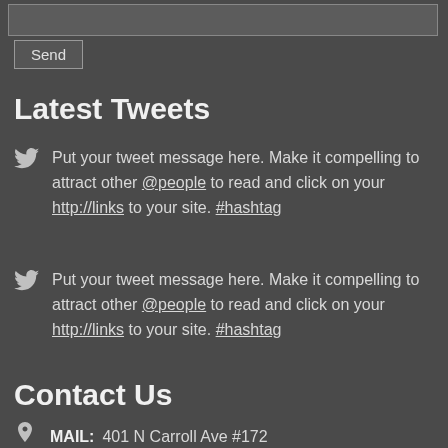[textarea input area]
Send
Latest Tweets
Put your tweet message here. Make it compelling to attract other @people to read and click on your http://links to your site. #hashtag
Put your tweet message here. Make it compelling to attract other @people to read and click on your http://links to your site. #hashtag
Contact Us
MAIL: 401 N Carroll Ave #172